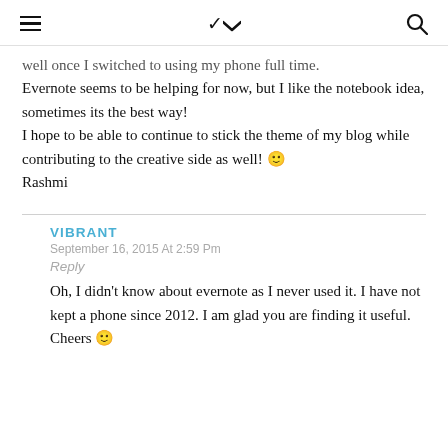≡ ∨ 🔍
well once I switched to using my phone full time.
Evernote seems to be helping for now, but I like the notebook idea, sometimes its the best way!
I hope to be able to continue to stick the theme of my blog while contributing to the creative side as well! 🙂
Rashmi
VIBRANT
September 16, 2015 At 2:59 Pm
Reply
Oh, I didn't know about evernote as I never used it. I have not kept a phone since 2012. I am glad you are finding it useful. Cheers 🙂